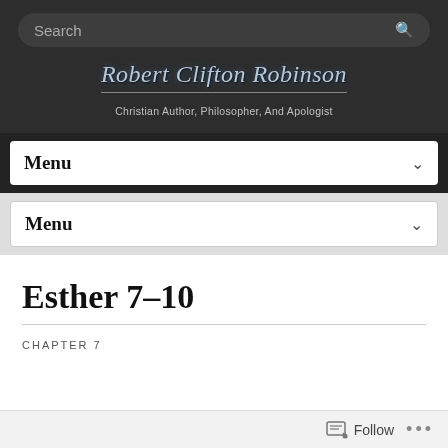Search
Robert Clifton Robinson
Christian Author, Philosopher, And Apologist
Menu
Menu
Esther 7–10
CHAPTER 7
Follow